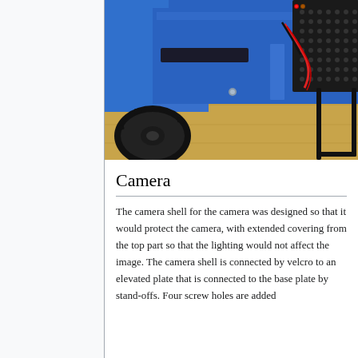[Figure (photo): Close-up photo of a blue robotic RC car chassis showing a wheel, blue 3D-printed body panels, electronic components including red wiring, perforated heat-sink panel, and a black wire frame/stand extending from the right side. The chassis sits on a wooden surface.]
Camera
The camera shell for the camera was designed so that it would protect the camera, with extended covering from the top part so that the lighting would not affect the image. The camera shell is connected by velcro to an elevated plate that is connected to the base plate by stand-offs. Four screw holes are added